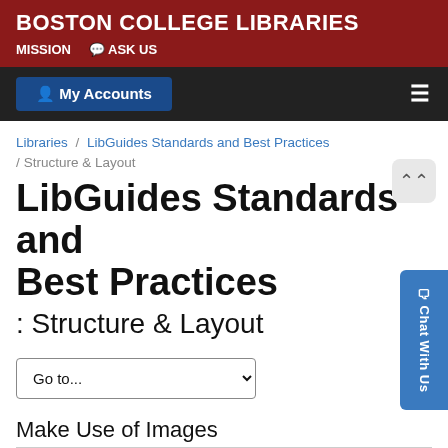BOSTON COLLEGE LIBRARIES
MISSION   ASK US
My Accounts
Libraries / LibGuides Standards and Best Practices / Structure & Layout
LibGuides Standards and Best Practices: Structure & Layout
Go to...
Make Use of Images